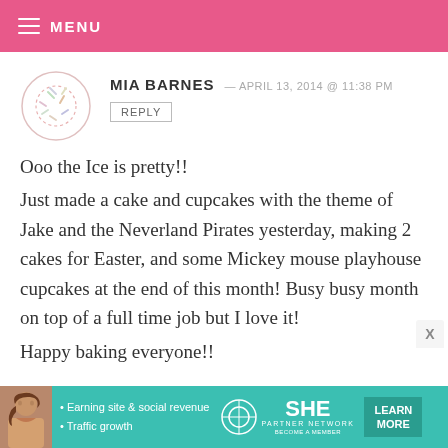MENU
MIA BARNES — APRIL 13, 2014 @ 11:38 PM
REPLY
Ooo the Ice is pretty!! Just made a cake and cupcakes with the theme of Jake and the Neverland Pirates yesterday, making 2 cakes for Easter, and some Mickey mouse playhouse cupcakes at the end of this month! Busy busy month on top of a full time job but I love it!
Happy baking everyone!!
• Earning site & social revenue • Traffic growth | SHE PARTNER NETWORK BECOME A MEMBER | LEARN MORE